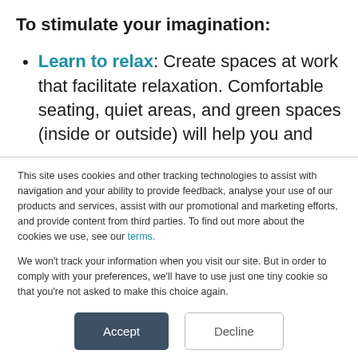To stimulate your imagination:
Learn to relax: Create spaces at work that facilitate relaxation. Comfortable seating, quiet areas, and green spaces (inside or outside) will help you and
This site uses cookies and other tracking technologies to assist with navigation and your ability to provide feedback, analyse your use of our products and services, assist with our promotional and marketing efforts, and provide content from third parties. To find out more about the cookies we use, see our terms.
We won't track your information when you visit our site. But in order to comply with your preferences, we'll have to use just one tiny cookie so that you're not asked to make this choice again.